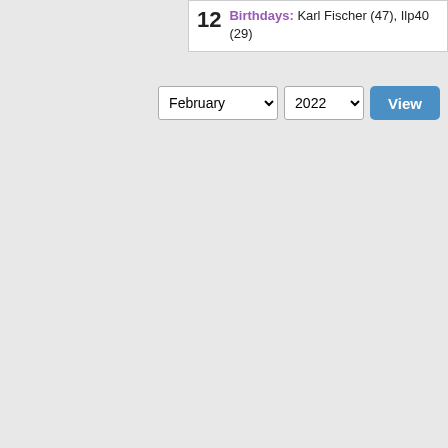12 Birthdays: Karl Fischer (47), Ilp40 (29)
February 2022 View